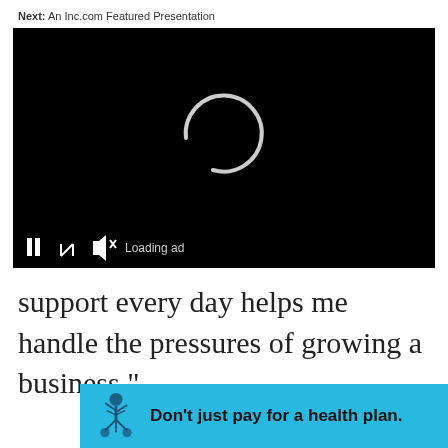Next: An Inc.com Featured Presentation
[Figure (screenshot): Black video player with a loading spinner (white partial circle) in the center, and a control bar at the bottom showing pause, fullscreen, mute, and 'Loading ad' text.]
support every day helps me handle the pressures of growing a business."
[Figure (infographic): Blue advertisement banner with a tree/person logo on the left and bold text: Don't just pay for a health plan.]